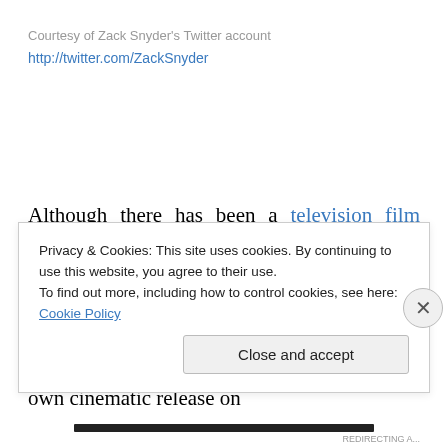Courtesy of Zack Snyder's Twitter account
http://twitter.com/ZackSnyder
Although there has been a television film (aired in 1974), as well as the famous television series, Wonder Woman has never starred in her own feature film. Perhaps the most iconic of all female superheroes, Wonder Woman will finally take centre stage in her own cinematic release on
Privacy & Cookies: This site uses cookies. By continuing to use this website, you agree to their use.
To find out more, including how to control cookies, see here: Cookie Policy
Close and accept